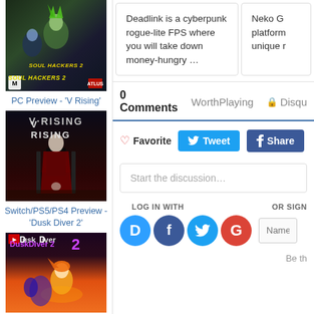[Figure (screenshot): Soul Hackers 2 game cover art showing anime characters]
PC Preview - 'V Rising'
[Figure (screenshot): V Rising game cover art showing vampire character on throne]
Switch/PS5/PS4 Preview - 'Dusk Diver 2'
[Figure (screenshot): Dusk Diver 2 game cover art with anime characters]
Deadlink is a cyberpunk rogue-lite FPS where you will take down money-hungry …
Neko G platform unique r
0 Comments   WorthPlaying   🔒 Disqu
♡ Favorite   Tweet   Share
Start the discussion…
LOG IN WITH   OR SIGN
Be th